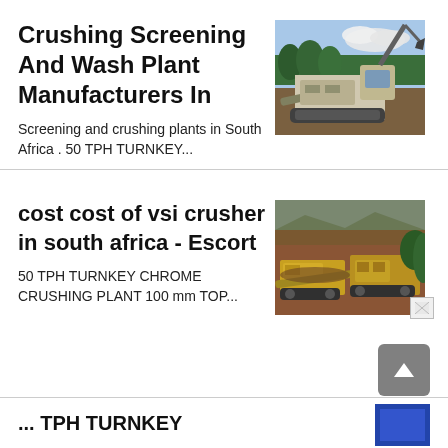Crushing Screening And Wash Plant Manufacturers In
[Figure (photo): Photo of excavator and crushing plant machinery on a dirt site with trees in background]
Screening and crushing plants in South Africa . 50 TPH TURNKEY...
cost cost of vsi crusher in south africa - Escort
[Figure (photo): Photo of yellow crushing/screening plant machinery on a dirt/gravel site]
50 TPH TURNKEY CHROME CRUSHING PLANT 100 mm TOP...
TPH TURNKEY